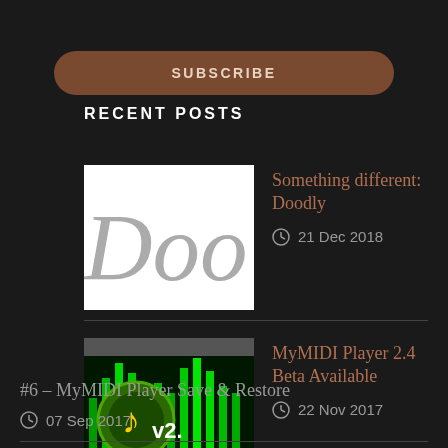SUBSCRIBE
RECENT POSTS
Something different: Doodly
21 Dec 2018
MyMIDI Player 2.4 Beta Available
22 Nov 2017
#6 – MyMIDI Player Save & Restore
07 Sep 2017